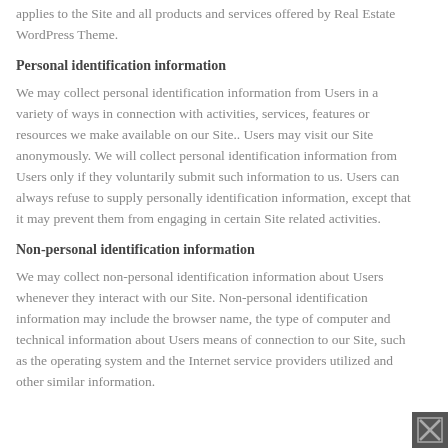applies to the Site and all products and services offered by Real Estate WordPress Theme.
Personal identification information
We may collect personal identification information from Users in a variety of ways in connection with activities, services, features or resources we make available on our Site.. Users may visit our Site anonymously. We will collect personal identification information from Users only if they voluntarily submit such information to us. Users can always refuse to supply personally identification information, except that it may prevent them from engaging in certain Site related activities.
Non-personal identification information
We may collect non-personal identification information about Users whenever they interact with our Site. Non-personal identification information may include the browser name, the type of computer and technical information about Users means of connection to our Site, such as the operating system and the Internet service providers utilized and other similar information.